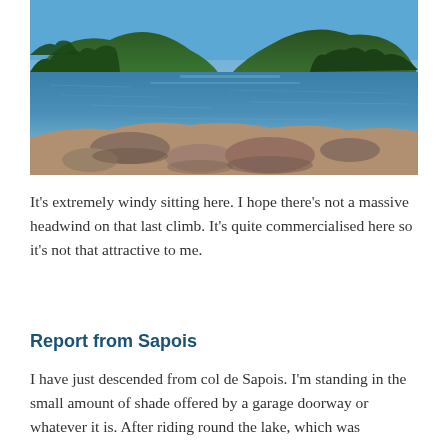[Figure (photo): A scenic lake surrounded by forested hills under a clear blue sky, with rocky shoreline in the foreground.]
It's extremely windy sitting here. I hope there's not a massive headwind on that last climb. It's quite commercialised here so it's not that attractive to me.
Report from Sapois
I have just descended from col de Sapois. I'm standing in the small amount of shade offered by a garage doorway or whatever it is. After riding round the lake, which was